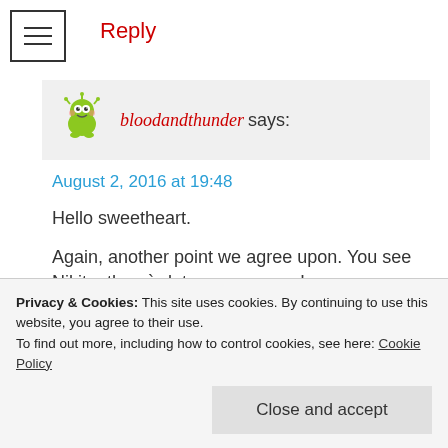Reply
bloodandthunder says:
August 2, 2016 at 19:48
Hello sweetheart.
Again, another point we agree upon. You see Nikita, there`s lots we agree on!
I hope you`re having a lovely day.
Loading...
Privacy & Cookies: This site uses cookies. By continuing to use this website, you agree to their use. To find out more, including how to control cookies, see here: Cookie Policy
Close and accept